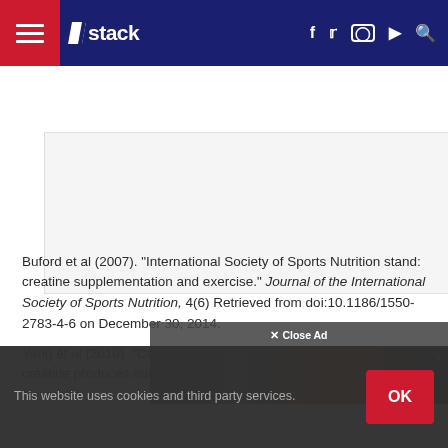stack — navigation bar with hamburger menu, logo, social icons (f, twitter, instagram, youtube), search
[Figure (other): Advertisement placeholder box (gray/white)]
Buford et al (2007). "International Society of Sports Nutrition stand: creatine supplementation and exercise." Journal of the International Society of Sports Nutrition, 4(6) Retrieved from doi:10.1186/1550-2783-4-6 on December 30, 2014.
Yang et al (2010). "Combination therapy with coenzyme Q10 and creatine produces additive neuroprotective effects in models of Parkinson..." Neuroche
[Figure (other): Close Ad overlay banner with ad content]
This website uses cookies and third party services.